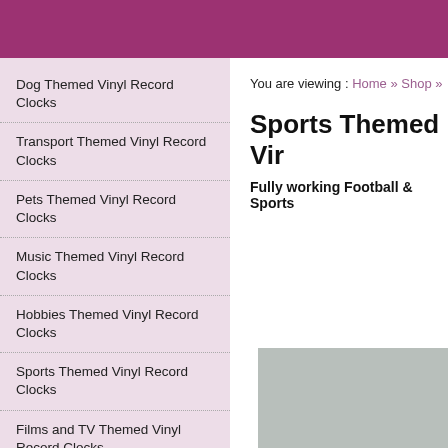Dog Themed Vinyl Record Clocks
Transport Themed Vinyl Record Clocks
Pets Themed Vinyl Record Clocks
Music Themed Vinyl Record Clocks
Hobbies Themed Vinyl Record Clocks
Sports Themed Vinyl Record Clocks
Films and TV Themed Vinyl Record Clocks
Cartoon and Superheroes
You are viewing : Home » Shop »
Sports Themed Vir
Fully working Football & Sports
[Figure (photo): Partial product image showing a grey vinyl record clock]